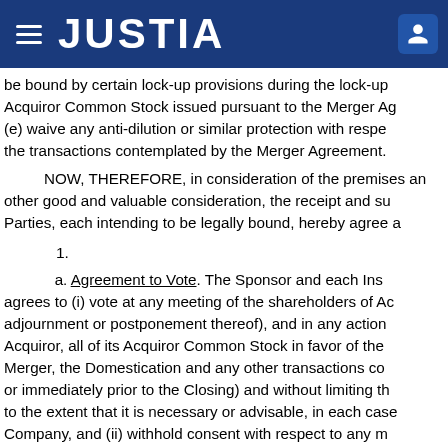JUSTIA
be bound by certain lock-up provisions during the lock-up Acquiror Common Stock issued pursuant to the Merger Ag (e) waive any anti-dilution or similar protection with respe the transactions contemplated by the Merger Agreement.
NOW, THEREFORE, in consideration of the premises an other good and valuable consideration, the receipt and su Parties, each intending to be legally bound, hereby agree a
1.
a. Agreement to Vote. The Sponsor and each Ins agrees to (i) vote at any meeting of the shareholders of Ac adjournment or postponement thereof), and in any action Acquiror, all of its Acquiror Common Stock in favor of the Merger, the Domestication and any other transactions co or immediately prior to the Closing) and without limiting th to the extent that it is necessary or advisable, in each case Company, and (ii) withhold consent with respect to any m